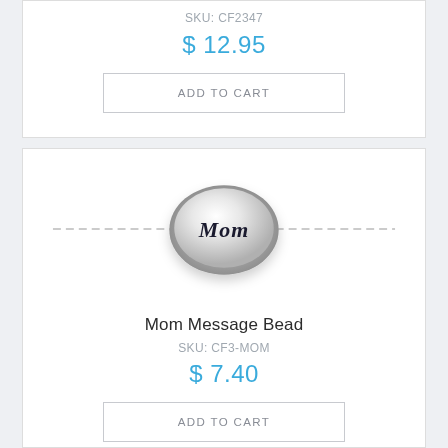SKU: CF2347
$ 12.95
ADD TO CART
[Figure (photo): Silver oval Mom message bead on a chain, with dashed lines on either side representing the bracelet/necklace chain]
Mom Message Bead
SKU: CF3-MOM
$ 7.40
ADD TO CART